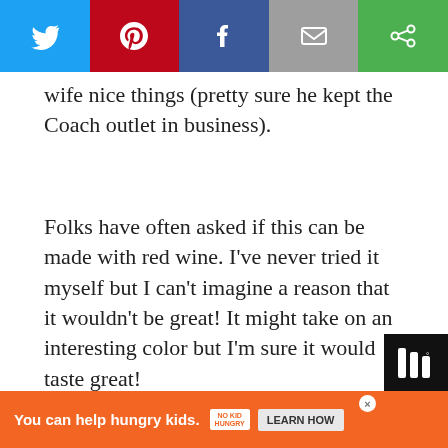[Figure (screenshot): Social sharing buttons bar: Twitter (blue), Pinterest (red), Facebook (dark blue), Email (gray), another share option (green)]
wife nice things (pretty sure he kept the Coach outlet in business).
Folks have often asked if this can be made with red wine. I've never tried it myself but I can't imagine a reason that it wouldn't be great! It might take on an interesting color but I'm sure it would taste great!
[Figure (photo): Food photo showing a piece of cornbread or similar baked good with 'South Your Mouth' script overlay text. A 'WHAT'S NEXT' box shows Ranch BLT Pasta Salad.]
[Figure (other): Advertisement bar: orange background, 'You can help hungry kids.' text, No Kid Hungry logo/badge, LEARN HOW button, close X button]